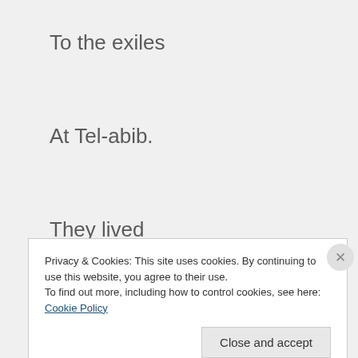To the exiles
At Tel-abib.
They lived
By the river Chebar.
I sat there
Privacy & Cookies: This site uses cookies. By continuing to use this website, you agree to their use.
To find out more, including how to control cookies, see here: Cookie Policy
Close and accept